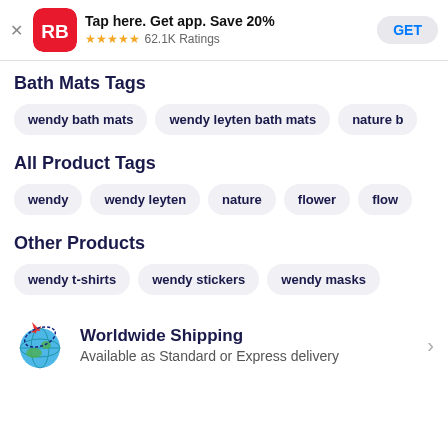[Figure (screenshot): App banner with RB logo, 'Tap here. Get app. Save 20%', 5-star rating, 62.1K Ratings, and GET button]
Bath Mats Tags
wendy bath mats
wendy leyten bath mats
nature b
All Product Tags
wendy
wendy leyten
nature
flower
flow
Other Products
wendy t-shirts
wendy stickers
wendy masks
Worldwide Shipping
Available as Standard or Express delivery